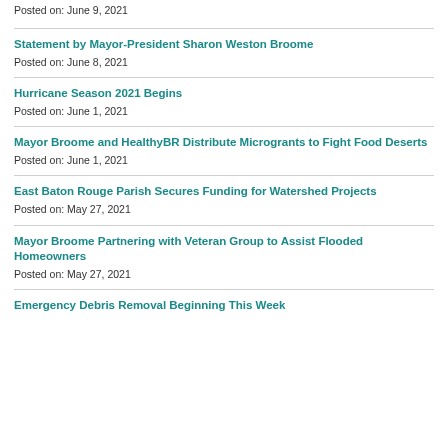Posted on: June 9, 2021
Statement by Mayor-President Sharon Weston Broome
Posted on: June 8, 2021
Hurricane Season 2021 Begins
Posted on: June 1, 2021
Mayor Broome and HealthyBR Distribute Microgrants to Fight Food Deserts
Posted on: June 1, 2021
East Baton Rouge Parish Secures Funding for Watershed Projects
Posted on: May 27, 2021
Mayor Broome Partnering with Veteran Group to Assist Flooded Homeowners
Posted on: May 27, 2021
Emergency Debris Removal Beginning This Week